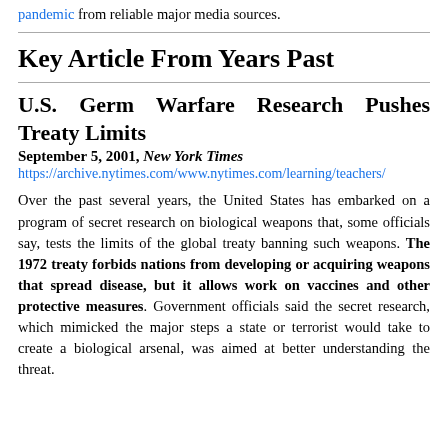pandemic from reliable major media sources.
Key Article From Years Past
U.S. Germ Warfare Research Pushes Treaty Limits
September 5, 2001, New York Times
https://archive.nytimes.com/www.nytimes.com/learning/teachers/
Over the past several years, the United States has embarked on a program of secret research on biological weapons that, some officials say, tests the limits of the global treaty banning such weapons. The 1972 treaty forbids nations from developing or acquiring weapons that spread disease, but it allows work on vaccines and other protective measures. Government officials said the secret research, which mimicked the major steps a state or terrorist would take to create a biological arsenal, was aimed at better understanding the threat.